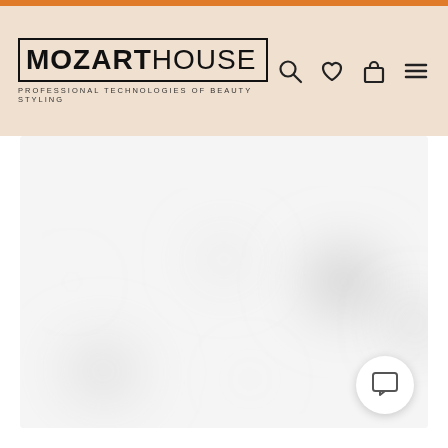MOZART HOUSE - PROFESSIONAL TECHNOLOGIES OF BEAUTY STYLING
[Figure (photo): Blurred product photo of hair styling tools/clips on white background]
[Figure (other): Chat/message button in bottom right corner]